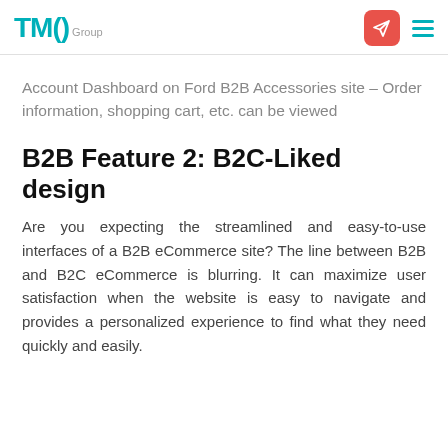TMO Group
Account Dashboard on Ford B2B Accessories site – Order information, shopping cart, etc. can be viewed
B2B Feature 2: B2C-Liked design
Are you expecting the streamlined and easy-to-use interfaces of a B2B eCommerce site? The line between B2B and B2C eCommerce is blurring. It can maximize user satisfaction when the website is easy to navigate and provides a personalized experience to find what they need quickly and easily.